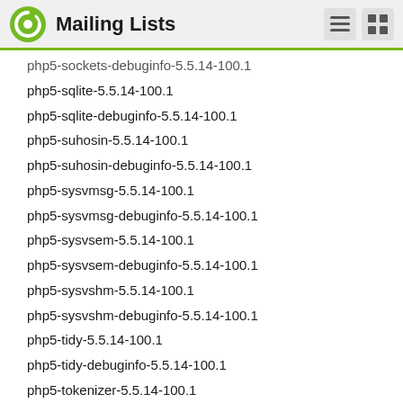Mailing Lists
php5-sockets-debuginfo-5.5.14-100.1
php5-sqlite-5.5.14-100.1
php5-sqlite-debuginfo-5.5.14-100.1
php5-suhosin-5.5.14-100.1
php5-suhosin-debuginfo-5.5.14-100.1
php5-sysvmsg-5.5.14-100.1
php5-sysvmsg-debuginfo-5.5.14-100.1
php5-sysvsem-5.5.14-100.1
php5-sysvsem-debuginfo-5.5.14-100.1
php5-sysvshm-5.5.14-100.1
php5-sysvshm-debuginfo-5.5.14-100.1
php5-tidy-5.5.14-100.1
php5-tidy-debuginfo-5.5.14-100.1
php5-tokenizer-5.5.14-100.1
php5-tokenizer-debuginfo-5.5.14-100.1
php5-wddx-5.5.14-100.1
php5-wddx-debuginfo-5.5.14-100.1